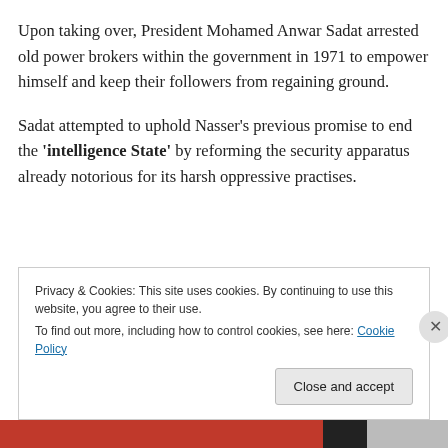Upon taking over, President Mohamed Anwar Sadat arrested old power brokers within the government in 1971 to empower himself and keep their followers from regaining ground.
Sadat attempted to uphold Nasser's previous promise to end the 'intelligence State' by reforming the security apparatus already notorious for its harsh oppressive practises.
Privacy & Cookies: This site uses cookies. By continuing to use this website, you agree to their use.
To find out more, including how to control cookies, see here: Cookie Policy
Close and accept